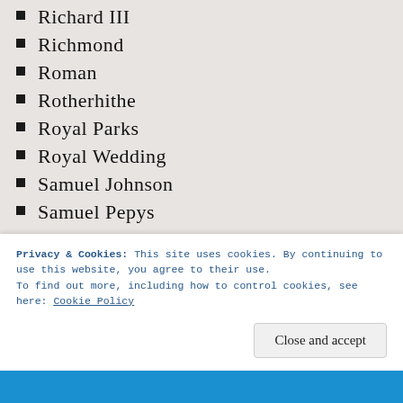Richard III
Richmond
Roman
Rotherhithe
Royal Parks
Royal Wedding
Samuel Johnson
Samuel Pepys
Saxon
Sherlock Holmes
Shooters Hill
Shoreditch
Smithfield
Soho
Somers Town
Privacy & Cookies: This site uses cookies. By continuing to use this website, you agree to their use. To find out more, including how to control cookies, see here: Cookie Policy
Close and accept